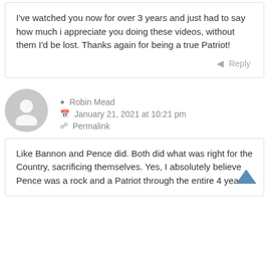I've watched you now for over 3 years and just had to say how much i appreciate you doing these videos, without them I'd be lost. Thanks again for being a true Patriot!
Reply
[Figure (illustration): Gray circular avatar icon with silhouette of a person]
Robin Mead
January 21, 2021 at 10:21 pm
Permalink
Like Bannon and Pence did. Both did what was right for the Country, sacrificing themselves. Yes, I absolutely believe Pence was a rock and a Patriot through the entire 4 years.